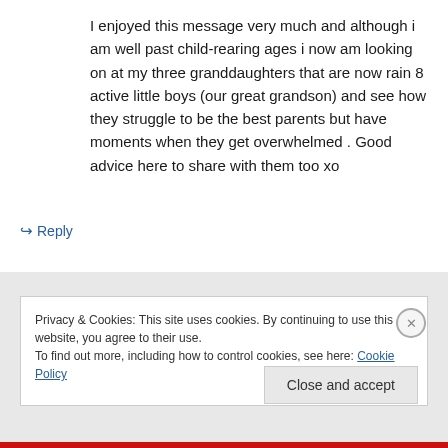I enjoyed this message very much and although i am well past child-rearing ages i now am looking on at my three granddaughters that are now rain 8 active little boys (our great grandson) and see how they struggle to be the best parents but have moments when they get overwhelmed . Good advice here to share with them too xo
↪ Reply
Privacy & Cookies: This site uses cookies. By continuing to use this website, you agree to their use.
To find out more, including how to control cookies, see here: Cookie Policy
Close and accept